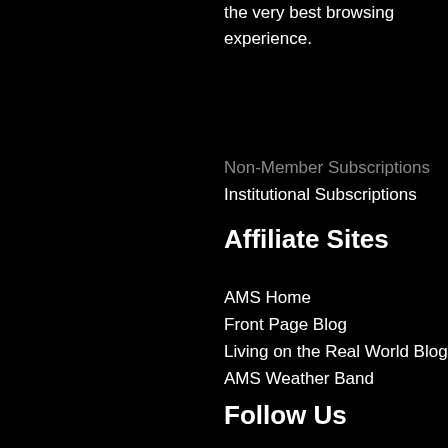the very best browsing experience.
Non-Member Subscriptions
Institutional Subscriptions
Affiliate Sites
AMS Home
Front Page Blog
Living on the Real World Blog
AMS Weather Band
Follow Us
[Figure (infographic): Social media icons: Facebook, Twitter, Instagram, YouTube]
Contact Us